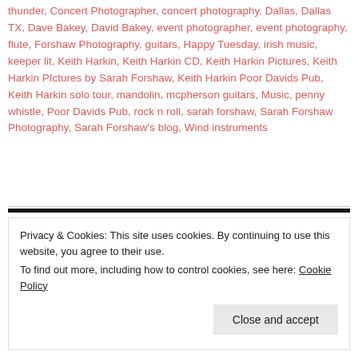thunder, Concert Photographer, concert photography, Dallas, Dallas TX, Dave Bakey, David Bakey, event photographer, event photography, flute, Forshaw Photography, guitars, Happy Tuesday, irish music, keeper lit, Keith Harkin, Keith Harkin CD, Keith Harkin Pictures, Keith Harkin PIctures by Sarah Forshaw, Keith Harkin Poor Davids Pub, Keith Harkin solo tour, mandolin, mcpherson guitars, Music, penny whistle, Poor Davids Pub, rock n roll, sarah forshaw, Sarah Forshaw Photography, Sarah Forshaw's blog, Wind instruments
Privacy & Cookies: This site uses cookies. By continuing to use this website, you agree to their use. To find out more, including how to control cookies, see here: Cookie Policy
Close and accept